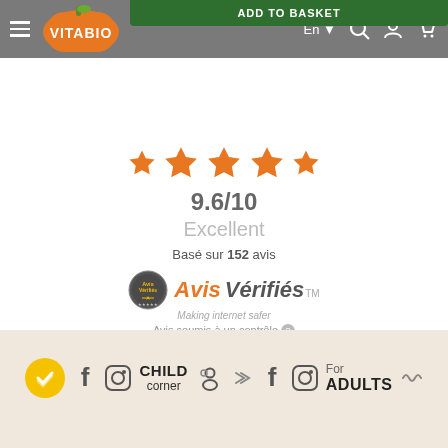[Figure (screenshot): Vitabio website navigation bar with logo, hamburger menu, language selector (En), search, user, and cart icons. Green 'Add to Basket' button partially visible at top.]
[Figure (infographic): Star rating display showing 5 orange stars, score 9.6/10, Excellent rating, based on 152 avis, with Avis Vérifiés logo and 'Avis soumis à un contrôle' text]
[Figure (infographic): Footer area with Vitabio brand icons including yellow checkmark circle, social media (Facebook, Instagram) icons, CHILD corner branding, and For ADULTS branding on beige textured background]